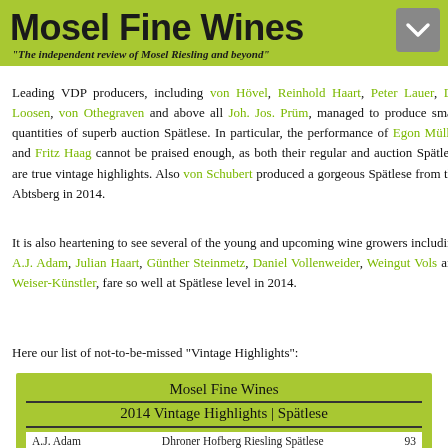Mosel Fine Wines
"The independent review of Mosel Riesling and beyond"
Leading VDP producers, including von Hövel, Reinhold Haart, Peter Lauer, Dr. Loosen, von Othegraven and above all Joh. Jos. Prüm, managed to produce small quantities of superb auction Spätlese. In particular, the performance of Egon Müller and Fritz Haag cannot be praised enough, as both their regular and auction Spätlese are true vintage highlights. Also von Schubert produced a gorgeous Spätlese from the Abtsberg in 2014.
It is also heartening to see several of the young and upcoming wine growers including A.J. Adam, Julian Haart, Günther Steinmetz, Daniel Vollenweider, Weingut Vols and Weiser-Künstler, fare so well at Spätlese level in 2014.
Here our list of not-to-be-missed "Vintage Highlights":
| Mosel Fine Wines | 2014 Vintage Highlights | Spätlese |
| --- | --- |
| A.J. Adam | Dhroner Hofberg Riesling Spätlese | 93 |